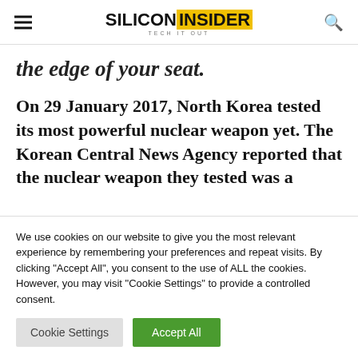SILICON INSIDER — TECH IT OUT
the edge of your seat.
On 29 January 2017, North Korea tested its most powerful nuclear weapon yet. The Korean Central News Agency reported that the nuclear weapon they tested was a
We use cookies on our website to give you the most relevant experience by remembering your preferences and repeat visits. By clicking "Accept All", you consent to the use of ALL the cookies. However, you may visit "Cookie Settings" to provide a controlled consent.